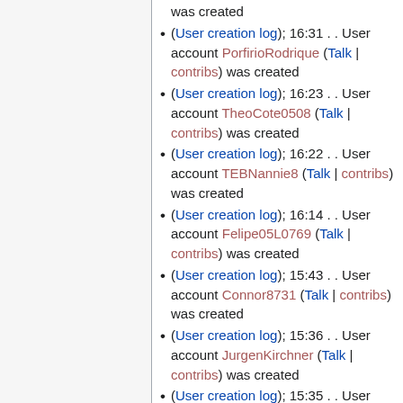was created
(User creation log); 16:31 . . User account PorfirioRodrique (Talk | contribs) was created
(User creation log); 16:23 . . User account TheoCote0508 (Talk | contribs) was created
(User creation log); 16:22 . . User account TEBNannie8 (Talk | contribs) was created
(User creation log); 16:14 . . User account Felipe05L0769 (Talk | contribs) was created
(User creation log); 15:43 . . User account Connor8731 (Talk | contribs) was created
(User creation log); 15:36 . . User account JurgenKirchner (Talk | contribs) was created
(User creation log); 15:35 . . User account Rozella1181 (Talk | contribs) was created
(User creation log); 15:33 . . User